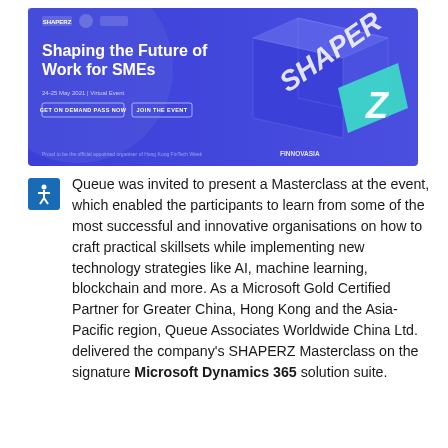[Figure (illustration): SHAPERZ event banner with blue background showing 'Shaping the Future of Work for SMEs' title, date 24-25 May 2021 Virtual Event, two buttons 'GET ON DEMAND PASS NOW' and 'JOIN THE EVENT', sponsor logos including Finnovasia, and a 3D SHAPERZ cube graphic on the right]
Queue was invited to present a Masterclass at the event, which enabled the participants to learn from some of the most successful and innovative organisations on how to craft practical skillsets while implementing new technology strategies like AI, machine learning, blockchain and more. As a Microsoft Gold Certified Partner for Greater China, Hong Kong and the Asia-Pacific region, Queue Associates Worldwide China Ltd. delivered the company's SHAPERZ Masterclass on the signature Microsoft Dynamics 365 solution suite.